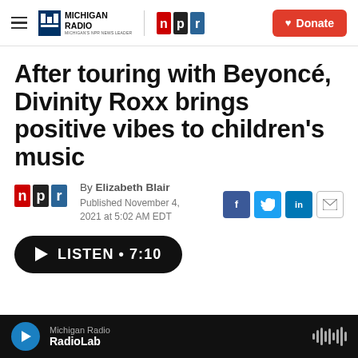Michigan Radio | NPR | Donate
After touring with Beyoncé, Divinity Roxx brings positive vibes to children's music
By Elizabeth Blair
Published November 4, 2021 at 5:02 AM EDT
Michigan Radio RadioLab